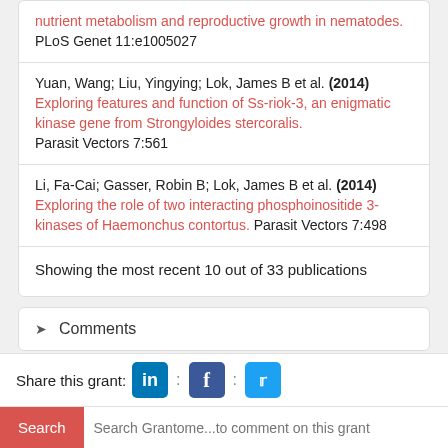nutrient metabolism and reproductive growth in nematodes. PLoS Genet 11:e1005027
Yuan, Wang; Liu, Yingying; Lok, James B et al. (2014) Exploring features and function of Ss-riok-3, an enigmatic kinase gene from Strongyloides stercoralis. Parasit Vectors 7:561
Li, Fa-Cai; Gasser, Robin B; Lok, James B et al. (2014) Exploring the role of two interacting phosphoinositide 3-kinases of Haemonchus contortus. Parasit Vectors 7:498
Showing the most recent 10 out of 33 publications
Comments
Share this grant: